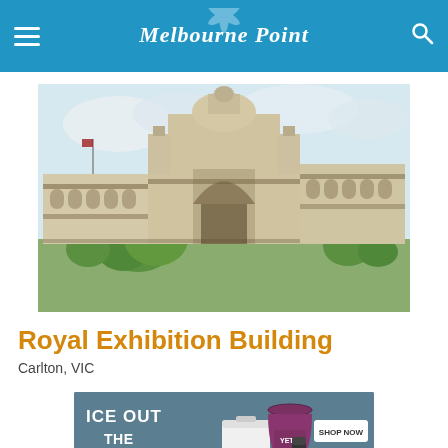Melbourne Point
[Figure (photo): Photograph of the Royal Exhibition Building in Carlton, VIC — a large ornate Victorian-era building with a central dome and arched entrance, flanked by trees under a cloudy sky.]
Royal Exhibition Building
Carlton, VIC
[Figure (other): YETI advertisement banner: 'ICE OUT THE COMPETITION' text on left, YETI cooler and bag in center, 'SHOP NOW' button and YETI logo on right, on a teal/blue-grey background.]